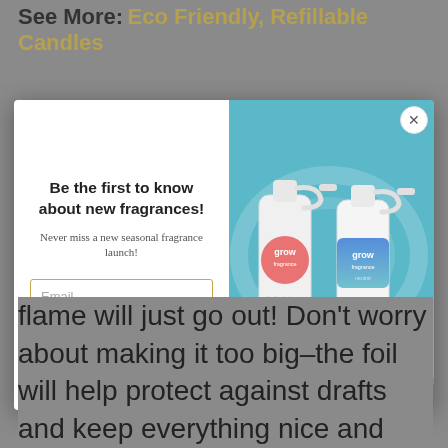See More: Eco Friendly, Refillable Candles
[Figure (screenshot): Modal popup with white left panel containing email signup form and right panel showing two 'grow' branded spray bottles on a teal/blue background. A close (X) button appears in the top right corner of the modal.]
flame will just go out! Don't worry about making it too big–the foil will help protect against drafts and keep everything nice and